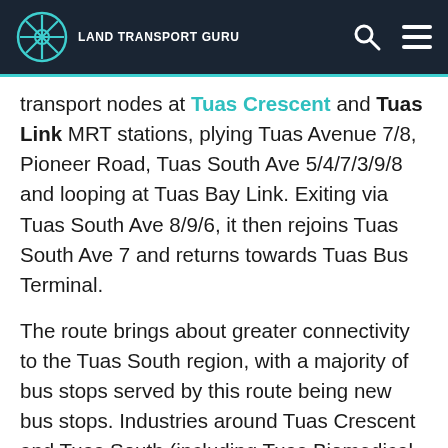Land Transport Guru
transport nodes at Tuas Crescent and Tuas Link MRT stations, plying Tuas Avenue 7/8, Pioneer Road, Tuas South Ave 5/4/7/3/9/8 and looping at Tuas Bay Link. Exiting via Tuas South Ave 8/9/6, it then rejoins Tuas South Ave 7 and returns towards Tuas Bus Terminal.
The route brings about greater connectivity to the Tuas South region, with a majority of bus stops served by this route being new bus stops. Industries around Tuas Crescent and Tuas South (including Tuas Biomedical Park), and workers living in dormitories around Tuas, stand to benefit from enhanced bus-rail connectivity offered in tandem with the opening of the East West Line's Tuas West Extension.
MRT Stations Served: